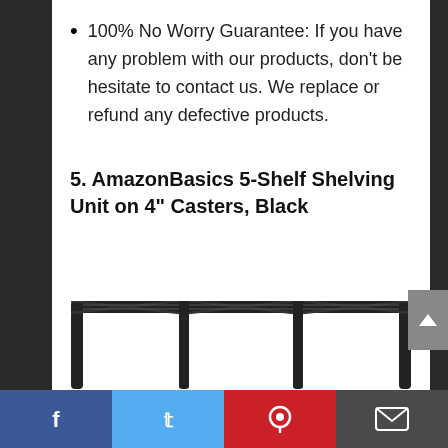100% No Worry Guarantee: If you have any problem with our products, don't be hesitate to contact us. We replace or refund any defective products.
5. AmazonBasics 5-Shelf Shelving Unit on 4" Casters, Black
[Figure (photo): Bottom portion of a black wire shelving unit with visible top shelf frame and vertical poles, partially cropped.]
Facebook | Twitter | Pinterest | Email